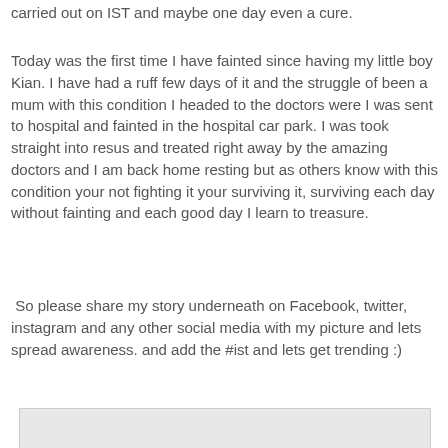carried out on IST and maybe one day even a cure.
Today was the first time I have fainted since having my little boy Kian. I have had a ruff few days of it and the struggle of been a mum with this condition I headed to the doctors were I was sent to hospital and fainted in the hospital car park. I was took straight into resus and treated right away by the amazing doctors and I am back home resting but as others know with this condition your not fighting it your surviving it, surviving each day without fainting and each good day I learn to treasure.
So please share my story underneath on Facebook, twitter, instagram and any other social media with my picture and lets spread awareness. and add the #ist and lets get trending :)
[Figure (photo): A partially visible photo/image at the bottom of the page, appears to be a light gray rectangle placeholder]